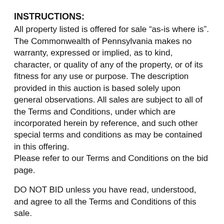INSTRUCTIONS:
All property listed is offered for sale “as-is where is”. The Commonwealth of Pennsylvania makes no warranty, expressed or implied, as to kind, character, or quality of any of the property, or of its fitness for any use or purpose. The description provided in this auction is based solely upon general observations. All sales are subject to all of the Terms and Conditions, under which are incorporated herein by reference, and such other special terms and conditions as may be contained in this offering.
Please refer to our Terms and Conditions on the bid page.
DO NOT BID unless you have read, understood, and agree to all the Terms and Conditions of this sale.
FAILURE to abide to these General Terms and Conditions could result in forfeiture of sale property.